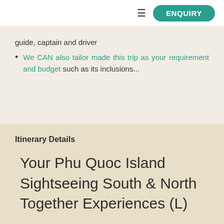ENQUIRY
guide, captain and driver
We CAN also tailor made this trip as your requirement and budget such as its inclusions...
Itinerary Details
Your Phu Quoc Island Sightseeing South & North Together Experiences (L)